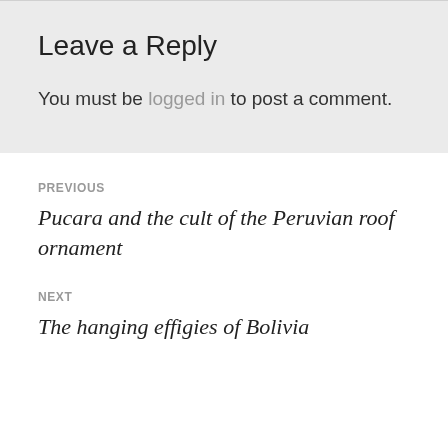Leave a Reply
You must be logged in to post a comment.
PREVIOUS
Pucara and the cult of the Peruvian roof ornament
NEXT
The hanging effigies of Bolivia